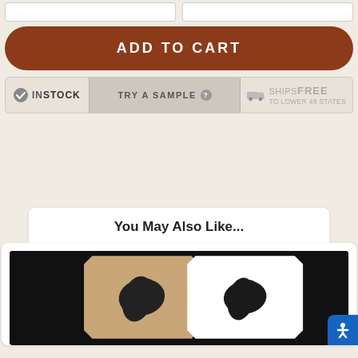[Figure (screenshot): Two input boxes side by side (form fields)]
ADD TO CART
IN STOCK
TRY A SAMPLE ?
SHIPS FREE TO LOWER 48 STATES
You May Also Like...
[Figure (photo): Two decorative tiles shown against black background: left tile is tan/beige with black animal-print blob motif, right tile is white with same black blob motif. Tiles have notched square shape.]